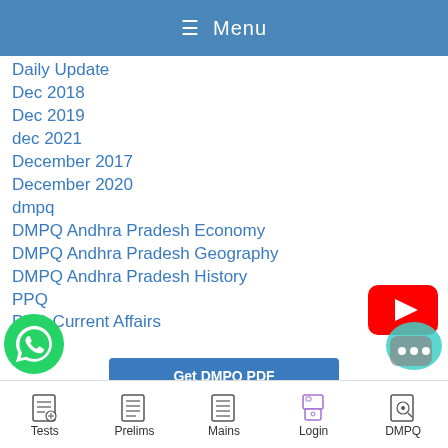≡ Menu
Daily Update
Dec 2018
Dec 2019
dec 2021
December 2017
December 2020
dmpq
DMPQ Andhra Pradesh Economy
DMPQ Andhra Pradesh Geography
DMPQ Andhra Pradesh History
PPQ
PPQ Current Affairs
[Figure (logo): YouTube play button red logo]
[Figure (logo): Get DMPQ PDF blue button]
[Figure (logo): WhatsApp green logo icon]
[Figure (logo): Chat bubble icon]
Tests  Prelims  Mains  Login  DMPQ